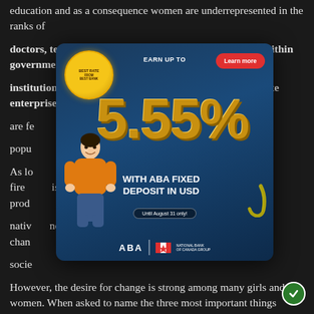education and as a consequence women are underrepresented in the ranks of
doctors, teachers, administrators and decision-makers within government
institutions. Only about a fifth of all government and state enterprise workers
are fe... percent of the total
popu...
As lo... fetching few... isting in the prod...
nativ... not be a great chan...
socie...
However, the desire for change is strong among many girls and women. When asked to name the three most important things
[Figure (infographic): Advertisement overlay for ABA Bank Fixed Deposit in USD. Shows 'BEST RATE FROM BEST BANK' badge, 'EARN UP TO 5.55%' in large gold text, 'WITH ABA FIXED DEPOSIT IN USD', 'Until August 31 only!', Learn more button, woman figure, ABA logo with National Bank of Canada Group.]